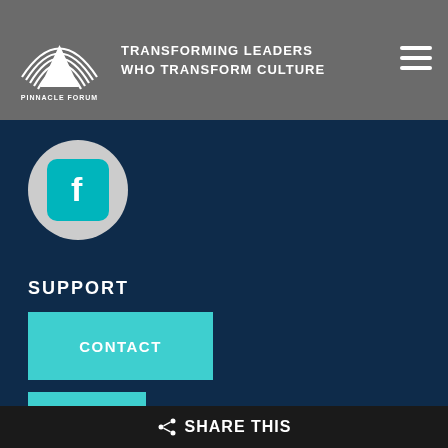PINNACLE FORUM — TRANSFORMING LEADERS WHO TRANSFORM CULTURE
[Figure (logo): Pinnacle Forum logo with mountain and rainbow arc and text 'PINNACLE FORUM']
[Figure (logo): Facebook icon in teal rounded square on grey circle]
SUPPORT
CONTACT
FAQ
MEDIA TOOLKIT
SHARE THIS